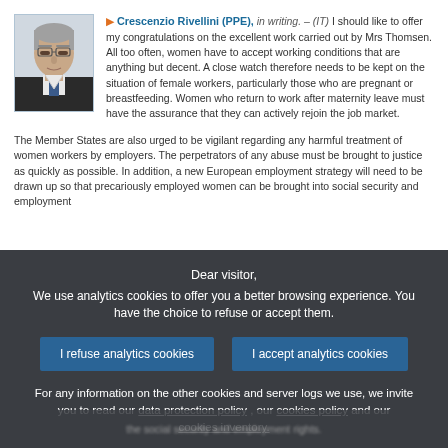[Figure (photo): Headshot photo of Crescenzio Rivellini, an older man with glasses and grey hair wearing a suit]
Crescenzio Rivellini (PPE), in writing. – (IT) I should like to offer my congratulations on the excellent work carried out by Mrs Thomsen. All too often, women have to accept working conditions that are anything but decent. A close watch therefore needs to be kept on the situation of female workers, particularly those who are pregnant or breastfeeding. Women who return to work after maternity leave must have the assurance that they can actively rejoin the job market.
The Member States are also urged to be vigilant regarding any harmful treatment of women workers by employers. The perpetrators of any abuse must be brought to justice as quickly as possible. In addition, a new European employment strategy will need to be drawn up so that precariously employed women can be brought into social security and employment
Dear visitor,
We use analytics cookies to offer you a better browsing experience. You have the choice to refuse or accept them.
I refuse analytics cookies
I accept analytics cookies
For any information on the other cookies and server logs we use, we invite you to read our data protection policy , our cookies policy and our cookies inventory.